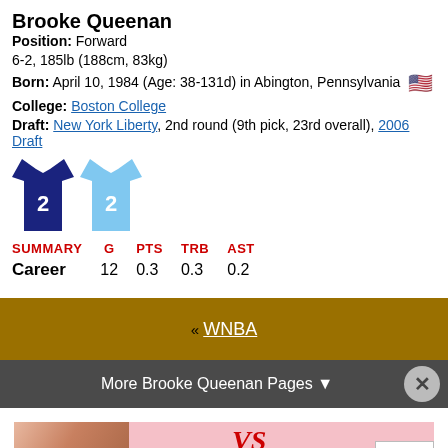Brooke Queenan
Position: Forward
6-2, 185lb (188cm, 83kg)
Born: April 10, 1984 (Age: 38-131d) in Abington, Pennsylvania 🇺🇸
College: Boston College
Draft: New York Liberty, 2nd round (9th pick, 23rd overall), 2006 Draft
[Figure (illustration): Two basketball jerseys both numbered 2 - dark navy jersey and light blue jersey]
| SUMMARY | G | PTS | TRB | AST |
| --- | --- | --- | --- | --- |
| Career | 12 | 0.3 | 0.3 | 0.2 |
« WNBA
More Brooke Queenan Pages ▼
[Figure (photo): Victoria's Secret advertisement - Shop The Collection]